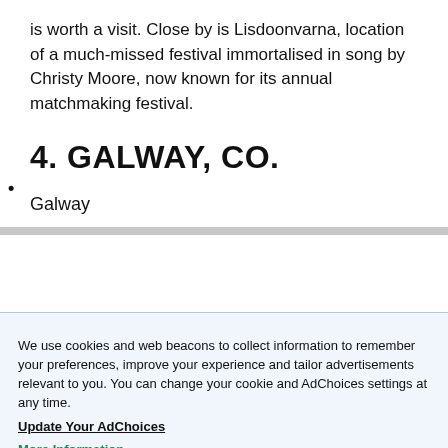is worth a visit. Close by is Lisdoonvarna, location of a much-missed festival immortalised in song by Christy Moore, now known for its annual matchmaking festival.
•
4. GALWAY, CO.
Galway
We use cookies and web beacons to collect information to remember your preferences, improve your experience and tailor advertisements relevant to you. You can change your cookie and AdChoices settings at any time.
Update Your AdChoices
More Information
Manage Your Settings